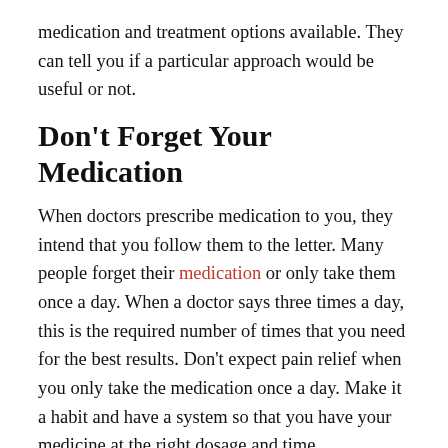medication and treatment options available. They can tell you if a particular approach would be useful or not.
Don't Forget Your Medication
When doctors prescribe medication to you, they intend that you follow them to the letter. Many people forget their medication or only take them once a day. When a doctor says three times a day, this is the required number of times that you need for the best results. Don't expect pain relief when you only take the medication once a day. Make it a habit and have a system so that you have your medicine at the right dosage and time.
Consider Topical Creams